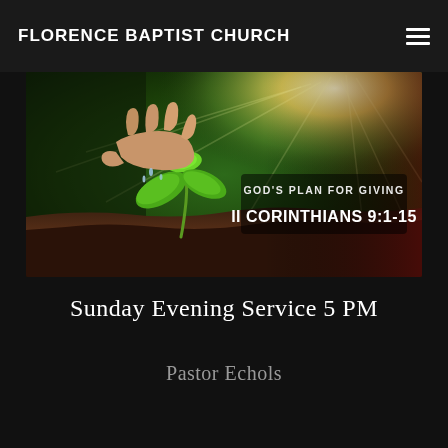FLORENCE BAPTIST CHURCH
[Figure (illustration): Promotional banner image showing a hand watering a small green seedling growing from dark soil, with bright sunlight in the background. Overlay text reads: GOD'S PLAN FOR GIVING II CORINTHIANS 9:1-15]
Sunday Evening Service 5 PM
Pastor Echols